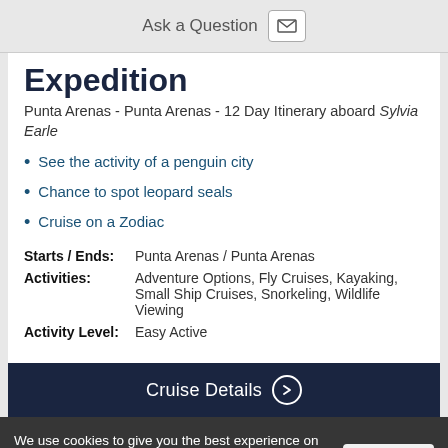Ask a Question
Expedition
Punta Arenas - Punta Arenas - 12 Day Itinerary aboard Sylvia Earle
See the activity of a penguin city
Chance to spot leopard seals
Cruise on a Zodiac
Starts / Ends: Punta Arenas / Punta Arenas
Activities: Adventure Options, Fly Cruises, Kayaking, Small Ship Cruises, Snorkeling, Wildlife Viewing
Activity Level: Easy Active
Cruise Details
We use cookies to give you the best experience on our website. Continue browsing the site if you're ok with this. For more info, please see our privacy policy.